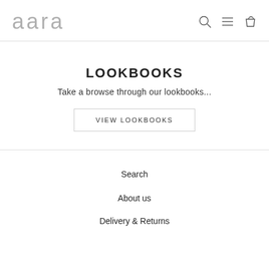aara
LOOKBOOKS
Take a browse through our lookbooks...
VIEW LOOKBOOKS
Search
About us
Delivery & Returns